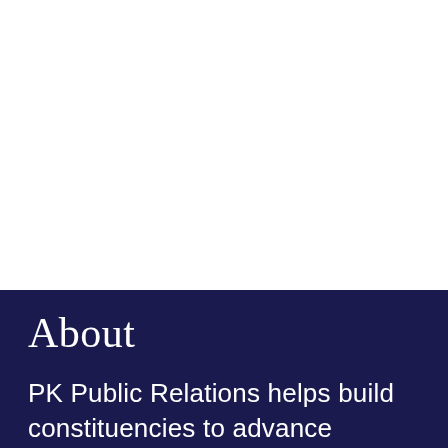About
PK Public Relations helps build constituencies to advance projects and